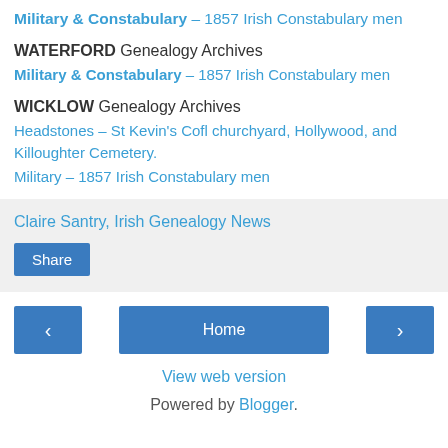Military & Constabulary – 1857 Irish Constabulary men
WATERFORD Genealogy Archives
Military & Constabulary – 1857 Irish Constabulary men
WICKLOW Genealogy Archives
Headstones – St Kevin's Cofl churchyard, Hollywood, and Killoughter Cemetery.
Military – 1857 Irish Constabulary men
Claire Santry, Irish Genealogy News
Share
Home
View web version
Powered by Blogger.